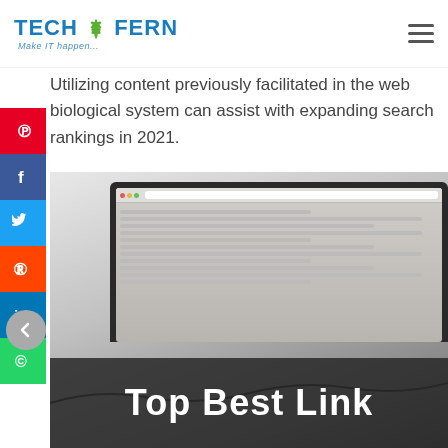TECH FERN Make IT happen...
Utilizing content previously facilitated in the web biological system can assist with expanding search rankings in 2021.
[Figure (screenshot): A laptop screen showing a web browser with analytics/content dashboard, with a dark overlay at the bottom showing 'Top Best Link' text and a graph line. Social media sharing buttons (Pinterest, Facebook, Twitter, Reddit, LinkedIn, WhatsApp) are on the left side.]